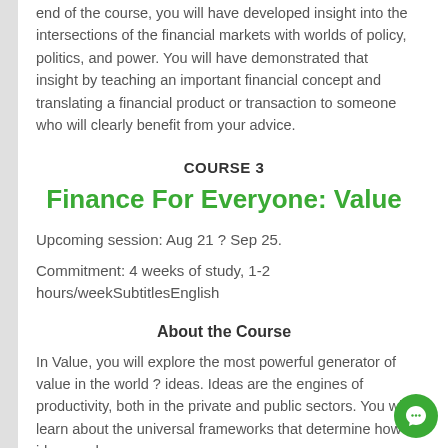end of the course, you will have developed insight into the intersections of the financial markets with worlds of policy, politics, and power. You will have demonstrated that insight by teaching an important financial concept and translating a financial product or transaction to someone who will clearly benefit from your advice.
COURSE 3
Finance For Everyone: Value
Upcoming session: Aug 21 ? Sep 25.
Commitment: 4 weeks of study, 1-2 hours/weekSubtitlesEnglish
About the Course
In Value, you will explore the most powerful generator of value in the world ? ideas. Ideas are the engines of productivity, both in the private and public sectors. You will learn about the universal frameworks that determine how ideas and money